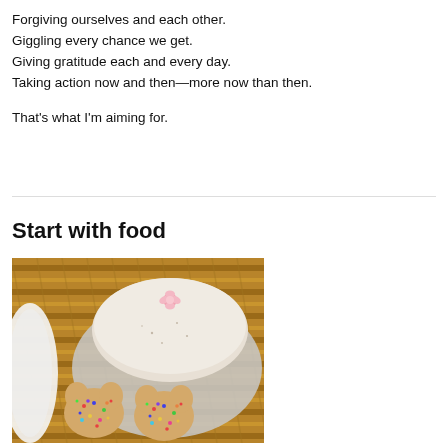Forgiving ourselves and each other.
Giggling every chance we get.
Giving gratitude each and every day.
Taking action now and then—more now than then.

That's what I'm aiming for.
[Figure (photo): Photo of decorated cookies with colorful sprinkles and a ceramic dish with a pink flower decoration on a wicker tray surface]
Start with food